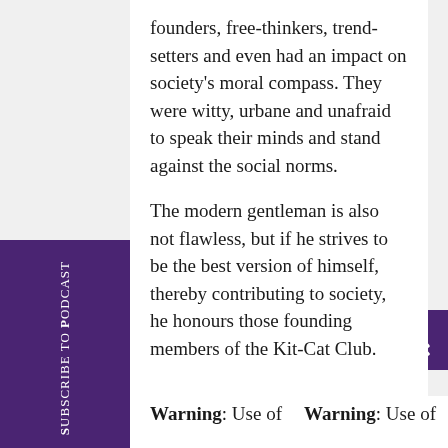founders, free-thinkers, trend-setters and even had an impact on society's moral compass. They were witty, urbane and unafraid to speak their minds and stand against the social norms.
The modern gentleman is also not flawless, but if he strives to be the best version of himself, thereby contributing to society, he honours those founding members of the Kit-Cat Club.
Subscribe to Podcast
Warning: Use of    Warning: Use of